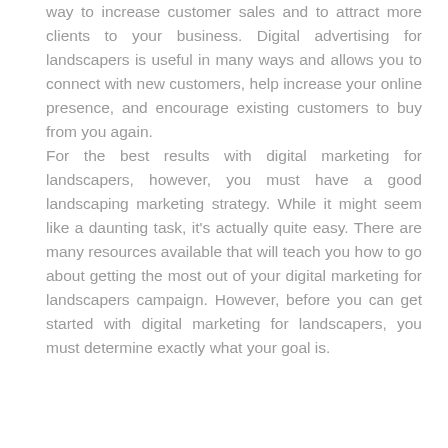way to increase customer sales and to attract more clients to your business. Digital advertising for landscapers is useful in many ways and allows you to connect with new customers, help increase your online presence, and encourage existing customers to buy from you again. For the best results with digital marketing for landscapers, however, you must have a good landscaping marketing strategy. While it might seem like a daunting task, it's actually quite easy. There are many resources available that will teach you how to go about getting the most out of your digital marketing for landscapers campaign. However, before you can get started with digital marketing for landscapers, you must determine exactly what your goal is.